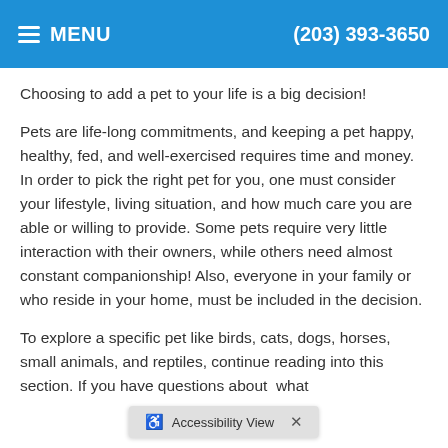MENU   (203) 393-3650
Choosing to add a pet to your life is a big decision!
Pets are life-long commitments, and keeping a pet happy, healthy, fed, and well-exercised requires time and money. In order to pick the right pet for you, one must consider your lifestyle, living situation, and how much care you are able or willing to provide. Some pets require very little interaction with their owners, while others need almost constant companionship! Also, everyone in your family or who reside in your home, must be included in the decision.
To explore a specific pet like birds, cats, dogs, horses, small animals, and reptiles, continue reading into this section. If you have questions about what pet is right for you...